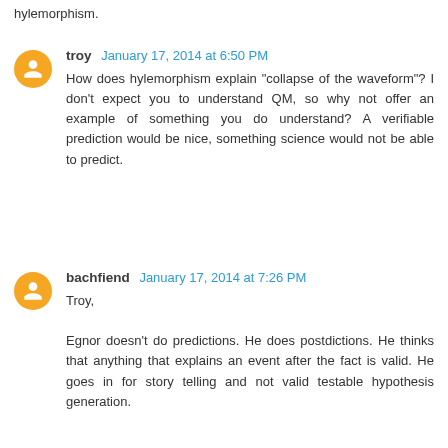hylemorphism.
troy January 17, 2014 at 6:50 PM
How does hylemorphism explain "collapse of the waveform"? I don't expect you to understand QM, so why not offer an example of something you do understand? A verifiable prediction would be nice, something science would not be able to predict.
bachfiend January 17, 2014 at 7:26 PM
Troy,

Egnor doesn't do predictions. He does postdictions. He thinks that anything that explains an event after the fact is valid. He goes in for story telling and not valid testable hypothesis generation.